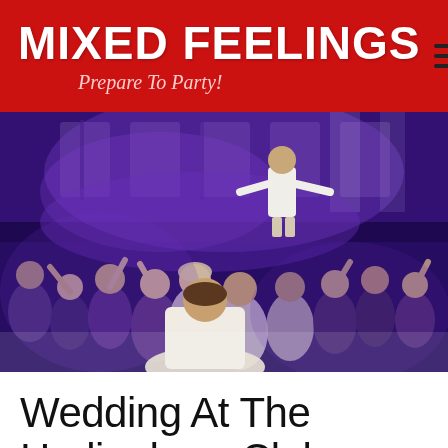MIXED FEELINGS — Prepare To Party!
[Figure (photo): Crowd of people dancing at a party/wedding event under purple lighting, with a person raised on shoulders at the back near a band performing on stage.]
Wedding At The Hurlingham Club